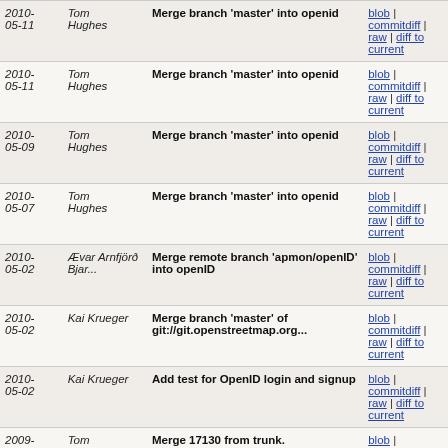| Date | Author | Message | Links |
| --- | --- | --- | --- |
| 2010-05-11 | Tom Hughes | Merge branch 'master' into openid | blob | commitdiff | raw | diff to current |
| 2010-05-11 | Tom Hughes | Merge branch 'master' into openid | blob | commitdiff | raw | diff to current |
| 2010-05-09 | Tom Hughes | Merge branch 'master' into openid | blob | commitdiff | raw | diff to current |
| 2010-05-07 | Tom Hughes | Merge branch 'master' into openid | blob | commitdiff | raw | diff to current |
| 2010-05-02 | Ævar Arnfjörð Bjar... | Merge remote branch 'apmon/openID' into openID | blob | commitdiff | raw | diff to current |
| 2010-05-02 | Kai Krueger | Merge branch 'master' of git://git.openstreetmap.org... | blob | commitdiff | raw | diff to current |
| 2010-05-02 | Kai Krueger | Add test for OpenID login and signup | blob | commitdiff | raw | diff to current |
| 2009-10-13 | Tom Hughes | Merge 17130 from trunk. | blob | commitdiff | raw | diff to current |
| 2009-10-13 | Tom Hughes | Merged 17073:17076 from trunk. | blob | commitdiff | raw | diff to current |
| 2009-10-13 | Tom Hughes | Merged 17047 from trunk. | blob | commitdiff | raw | diff to current |